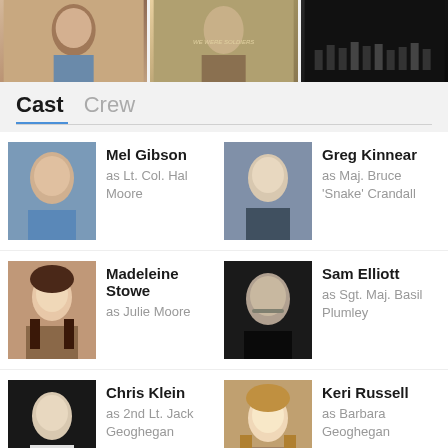[Figure (screenshot): Three movie poster images at the top, partially cropped. Left shows a man's face, center shows 'We Were Soldiers' movie poster, right shows silhouettes of soldiers.]
Cast   Crew
Mel Gibson
as Lt. Col. Hal Moore
Greg Kinnear
as Maj. Bruce 'Snake' Crandall
Madeleine Stowe
as Julie Moore
Sam Elliott
as Sgt. Maj. Basil Plumley
Chris Klein
as 2nd Lt. Jack Geoghegan
Keri Russell
as Barbara Geoghegan
Barry Pepper
as Joe Galloway
Clark Gregg
as Capt. Tom Me...